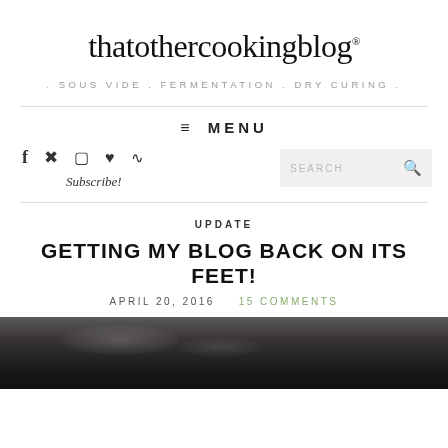thatothercookingblog®
. SOUS VIDE . FERMENTATION . DRY CURING .
≡ MENU
[Figure (infographic): Social media icons: Facebook, Pinterest, Instagram, Heart/Bloglovin, RSS feed; and Subscribe! link]
SEARCH
UPDATE
GETTING MY BLOG BACK ON ITS FEET!
APRIL 20, 2016   15 COMMENTS
[Figure (photo): Dark overhead photo of a cast iron pan with food being cooked, showing glossy reflective surface]